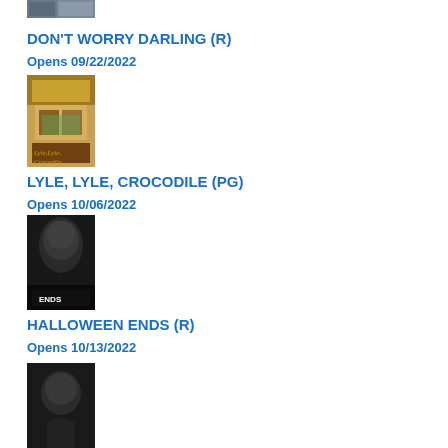[Figure (photo): Movie poster for Don't Worry Darling (partially visible at top)]
DON'T WORRY DARLING (R)
Opens 09/22/2022
[Figure (photo): Movie poster for Lyle, Lyle, Crocodile showing a luxury apartment interior with a crocodile]
LYLE, LYLE, CROCODILE (PG)
Opens 10/06/2022
[Figure (photo): Movie poster for Halloween Ends showing a dark figure with ENDS text]
HALLOWEEN ENDS (R)
Opens 10/13/2022
[Figure (photo): Movie poster partially visible at bottom of page showing a person's silhouette]